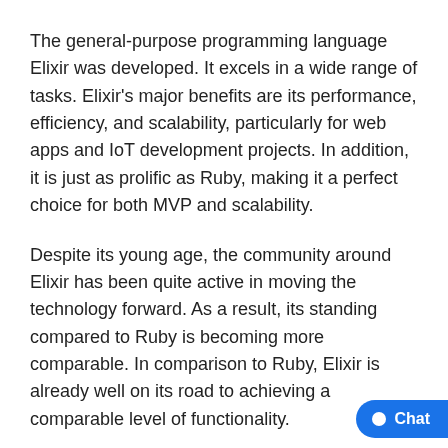The general-purpose programming language Elixir was developed. It excels in a wide range of tasks. Elixir's major benefits are its performance, efficiency, and scalability, particularly for web apps and IoT development projects. In addition, it is just as prolific as Ruby, making it a perfect choice for both MVP and scalability.
Despite its young age, the community around Elixir has been quite active in moving the technology forward. As a result, its standing compared to Ruby is becoming more comparable. In comparison to Ruby, Elixir is already well on its road to achieving a comparable level of functionality.
Additionally, José Valim, the guy that developed Elixir, is a major contributor to the projects Ecto, Phoenix, and a slew of other Elixir-related projects. He's often